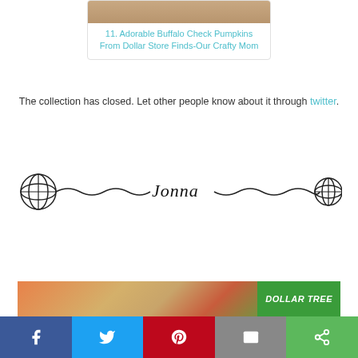[Figure (screenshot): Card with image thumbnail and link: '11. Adorable Buffalo Check Pumpkins From Dollar Store Finds-Our Crafty Mom']
The collection has closed. Let other people know about it through twitter.
[Figure (illustration): Decorative signature divider with yarn balls on each end and cursive 'Jonna' text in the center, connected by wavy lines]
[Figure (photo): Advertisement banner for Dollar Tree with fall-themed imagery]
[Figure (infographic): Social share bar with Facebook, Twitter, Pinterest, Email, and Share buttons]